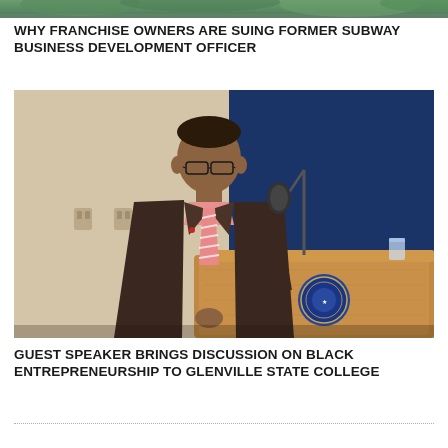[Figure (photo): Top partial photo showing outdoor scene with greenery, cropped at bottom of frame]
WHY FRANCHISE OWNERS ARE SUING FORMER SUBWAY BUSINESS DEVELOPMENT OFFICER
[Figure (photo): A man in a dark brown suit and pink striped tie stands at a wooden podium with a university seal, speaking at a microphone in front of a blue panel backdrop]
GUEST SPEAKER BRINGS DISCUSSION ON BLACK ENTREPRENEURSHIP TO GLENVILLE STATE COLLEGE